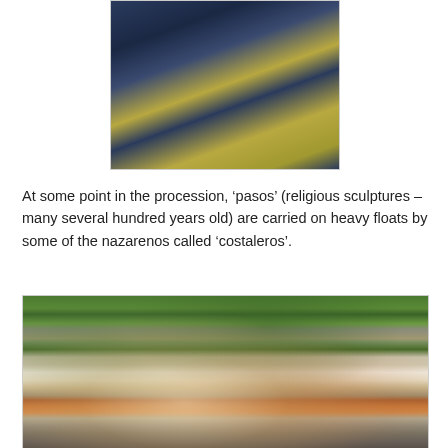[Figure (photo): Photo of nazarenos in dark blue robes holding palm fronds during a procession, viewed from below at an angle]
At some point in the procession, 'pasos' (religious sculptures – many several hundred years old) are carried on heavy floats by some of the nazarenos called 'costaleros'.
[Figure (photo): Photo of religious statues (paso) depicting Mary and another figure on a donkey, carried through a city street with green tree branches overhead and urban buildings in the background]